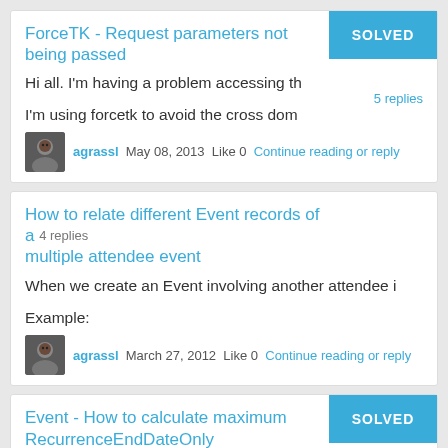ForceTK - Request parameters not being passed
Hi all. I'm having a problem accessing th
I'm using forcetk to avoid the cross dom
agrassl   May 08, 2013   Like 0   Continue reading or reply
How to relate different Event records of a multiple attendee event
When we create an Event involving another attendee i
Example:
agrassl   March 27, 2012   Like 0   Continue reading or reply
Event - How to calculate maximum RecurrenceEndDateOnly